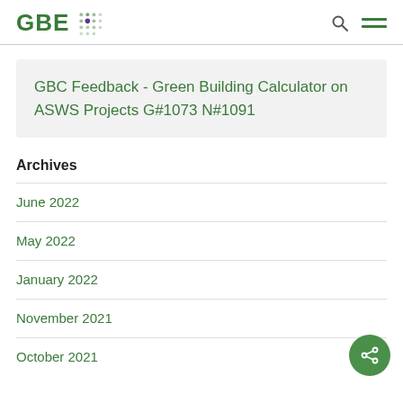GBE [logo with dot grid]
GBC Feedback - Green Building Calculator on ASWS Projects G#1073 N#1091
Archives
June 2022
May 2022
January 2022
November 2021
October 2021